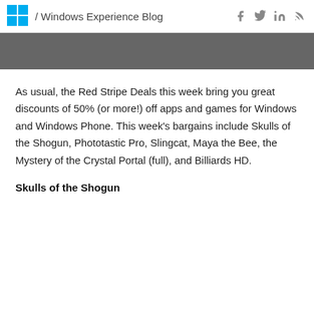/ Windows Experience Blog
[Figure (other): Gray banner bar]
As usual, the Red Stripe Deals this week bring you great discounts of 50% (or more!) off apps and games for Windows and Windows Phone. This week’s bargains include Skulls of the Shogun, Phototastic Pro, Slingcat, Maya the Bee, the Mystery of the Crystal Portal (full), and Billiards HD.
Skulls of the Shogun